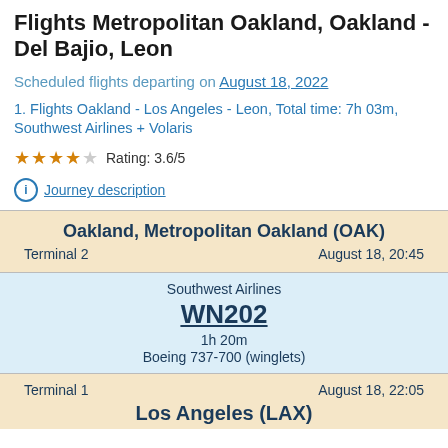Flights Metropolitan Oakland, Oakland - Del Bajio, Leon
Scheduled flights departing on August 18, 2022
1. Flights Oakland - Los Angeles - Leon, Total time: 7h 03m, Southwest Airlines + Volaris
Rating: 3.6/5
Journey description
Oakland, Metropolitan Oakland (OAK)
Terminal 2    August 18, 20:45
Southwest Airlines
WN202
1h 20m
Boeing 737-700 (winglets)
Terminal 1    August 18, 22:05
Los Angeles (LAX)